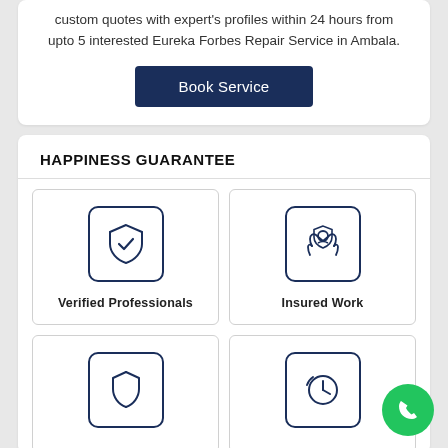custom quotes with expert's profiles within 24 hours from upto 5 interested Eureka Forbes Repair Service in Ambala.
Book Service
HAPPINESS GUARANTEE
[Figure (illustration): Verified Professionals icon: shield with checkmark inside a rounded square border]
Verified Professionals
[Figure (illustration): Insured Work icon: person/face with hands holding, inside a rounded square border]
Insured Work
[Figure (illustration): Bottom left icon: shield outline, partially visible]
[Figure (illustration): Bottom right icon: clock/time icon, partially visible]
[Figure (illustration): Green phone FAB button in bottom right corner]